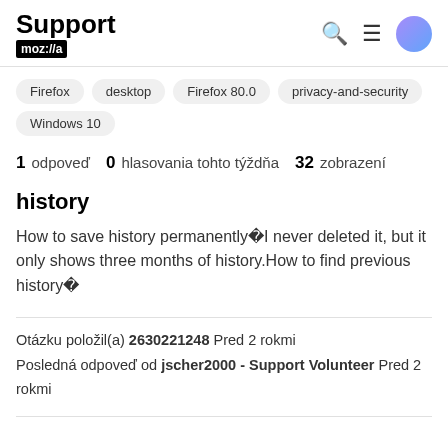Support mozilla
Firefox
desktop
Firefox 80.0
privacy-and-security
Windows 10
1 odpoveď  0  hlasovania tohto týždňa  32  zobrazení
history
How to save history permanentlyÿl never deleted it, but it only shows three months of history.How to find previous historyÿ
Otázku položil(a) 2630221248 Pred 2 rokmi
Posledná odpoveď od jscher2000 - Support Volunteer Pred 2 rokmi